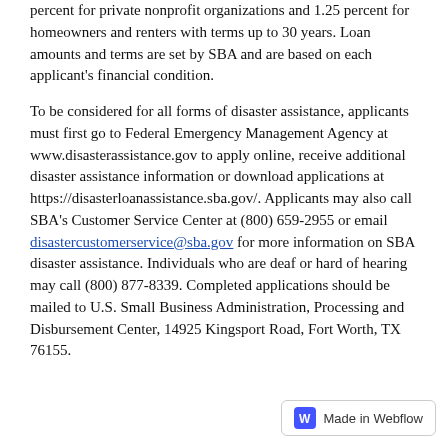percent for private nonprofit organizations and 1.25 percent for homeowners and renters with terms up to 30 years. Loan amounts and terms are set by SBA and are based on each applicant's financial condition.
To be considered for all forms of disaster assistance, applicants must first go to Federal Emergency Management Agency at www.disasterassistance.gov to apply online, receive additional disaster assistance information or download applications at https://disasterloanassistance.sba.gov/. Applicants may also call SBA's Customer Service Center at (800) 659-2955 or email disastercustomerservice@sba.gov for more information on SBA disaster assistance. Individuals who are deaf or hard of hearing may call (800) 877-8339. Completed applications should be mailed to U.S. Small Business Administration, Processing and Disbursement Center, 14925 Kingsport Road, Fort Worth, TX  76155.
Made in Webflow